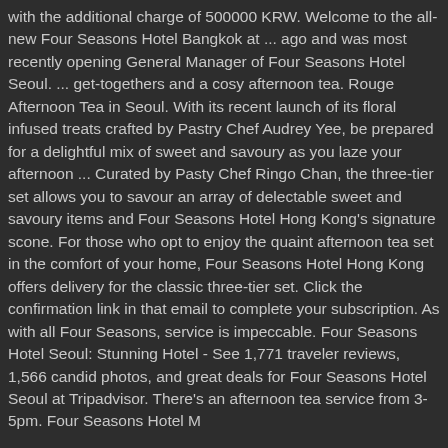with the additional charge of 500000 KRW. Welcome to the all-new Four Seasons Hotel Bangkok at ... ago and was most recently opening General Manager of Four Seasons Hotel Seoul. ... get-togethers and a cosy afternoon tea. Rouge Afternoon Tea in Seoul. With its recent launch of its floral infused treats crafted by Pastry Chef Audrey Yee, be prepared for a delightful mix of sweet and savoury as you laze your afternoon ... Curated by Pasty Chef Ringo Chan, the three-tier set allows you to savour an array of delectable sweet and savoury items and Four Seasons Hotel Hong Kong's signature scone. For those who opt to enjoy the quaint afternoon tea set in the comfort of your home, Four Seasons Hotel Hong Kong offers delivery for the classic three-tier set. Click the confirmation link in that email to complete your subscription. As with all Four Seasons, service is impeccable. Four Seasons Hotel Seoul: Stunning Hotel - See 1,771 traveler reviews, 1,566 candid photos, and great deals for Four Seasons Hotel Seoul at Tripadvisor. There's an afternoon tea service from 3-5pm. Four Seasons Hotel Marcus Cole Fine Expedition and ...